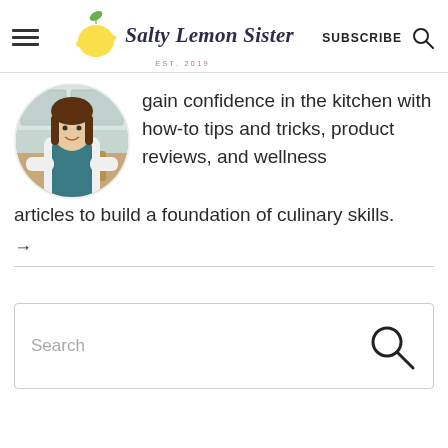Salty Lemon Sister | EST. 2019 | SUBSCRIBE
[Figure (illustration): Circular profile photo of a woman wearing a teal apron over a white long-sleeve shirt, standing at a wooden cutting board in a kitchen. The image is cropped to a circle.]
gain confidence in the kitchen with how-to tips and tricks, product reviews, and wellness articles to build a foundation of culinary skills.
→
[Figure (other): Search bar with placeholder text 'Search' and a magnifying glass icon on the right.]